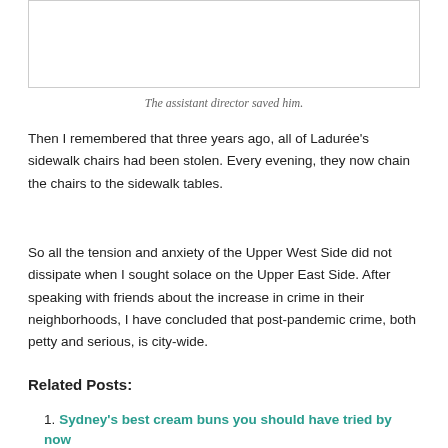[Figure (photo): Image placeholder box (white rectangle with border)]
The assistant director saved him.
Then I remembered that three years ago, all of Ladurée's sidewalk chairs had been stolen. Every evening, they now chain the chairs to the sidewalk tables.
So all the tension and anxiety of the Upper West Side did not dissipate when I sought solace on the Upper East Side. After speaking with friends about the increase in crime in their neighborhoods, I have concluded that post-pandemic crime, both petty and serious, is city-wide.
Related Posts:
Sydney's best cream buns you should have tried by now